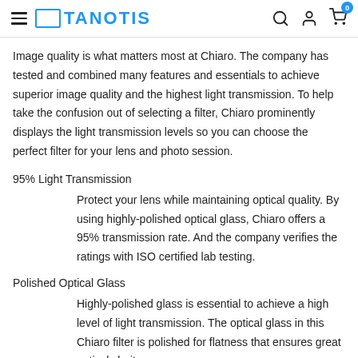TANOTIS
Image quality is what matters most at Chiaro. The company has tested and combined many features and essentials to achieve superior image quality and the highest light transmission. To help take the confusion out of selecting a filter, Chiaro prominently displays the light transmission levels so you can choose the perfect filter for your lens and photo session.
95% Light Transmission
Protect your lens while maintaining optical quality. By using highly-polished optical glass, Chiaro offers a 95% transmission rate. And the company verifies the ratings with ISO certified lab testing.
Polished Optical Glass
Highly-polished glass is essential to achieve a high level of light transmission. The optical glass in this Chiaro filter is polished for flatness that ensures great optical clarity.